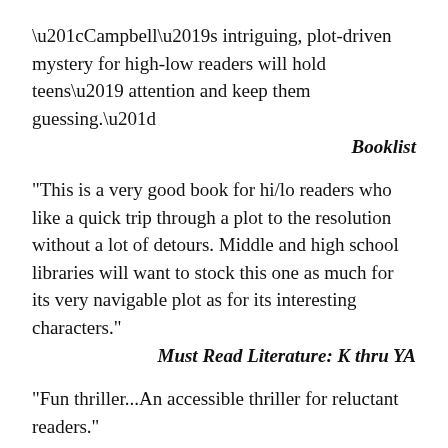“Campbell’s intriguing, plot-driven mystery for high-low readers will hold teens’ attention and keep them guessing.”
Booklist
“This is a very good book for hi/lo readers who like a quick trip through a plot to the resolution without a lot of detours. Middle and high school libraries will want to stock this one as much for its very navigable plot as for its interesting characters.”
Must Read Literature: K thru YA
"Fun thriller...An accessible thriller for reluctant readers."
Kirkus Reviews